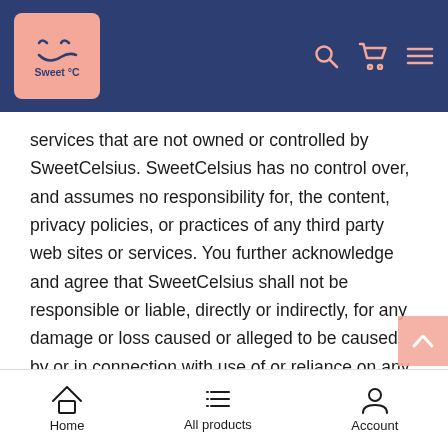Sweet °C — navigation header with logo, search, cart, and menu icons
services that are not owned or controlled by SweetCelsius. SweetCelsius has no control over, and assumes no responsibility for, the content, privacy policies, or practices of any third party web sites or services. You further acknowledge and agree that SweetCelsius shall not be responsible or liable, directly or indirectly, for any damage or loss caused or alleged to be caused by or in connection with use of or reliance on any such content, goods or services available on or through any such web sites or services. We strongly advise you to read the terms and conditions and privacy policies of any third-party web sites or services that you visit.
Termination
We may terminate or suspend our Services...
Home | All products | Account